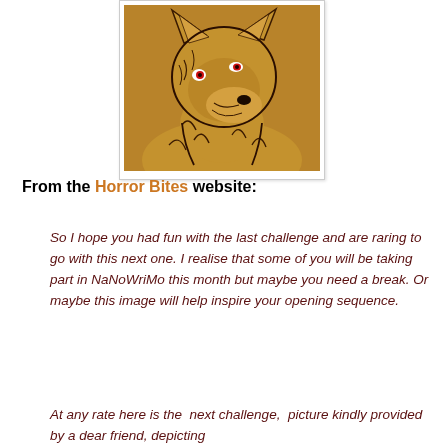[Figure (illustration): A brown wolf illustration with red eyes on a tan/brown background, shown from the chest up, facing slightly right. The wolf has detailed fur markings drawn in black lines.]
From the Horror Bites website:
So I hope you had fun with the last challenge and are raring to go with this next one. I realise that some of you will be taking part in NaNoWriMo this month but maybe you need a break. Or maybe this image will help inspire your opening sequence.
At any rate here is the  next challenge,  picture kindly provided by a dear friend, depicting